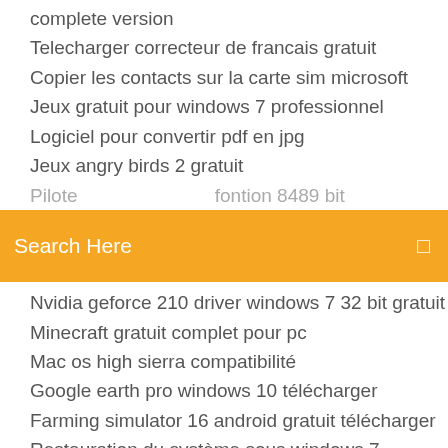complete version
Telecharger correcteur de francais gratuit
Copier les contacts sur la carte sim microsoft
Jeux gratuit pour windows 7 professionnel
Logiciel pour convertir pdf en jpg
Jeux angry birds 2 gratuit
Pilote... [partially visible]
[Figure (screenshot): Orange search bar with text 'Search Here' and a search icon on the right]
Nvidia geforce 210 driver windows 7 32 bit gratuit
Minecraft gratuit complet pour pc
Mac os high sierra compatibilité
Google earth pro windows 10 télécharger
Farming simulator 16 android gratuit télécharger
Restauration du système sous windows 7
Telecharger windows 8 gratuit français 64 bits
Mot de passe oublie yahoo messenger
Angry ip scanner linux 64 bit
Test adobe flash player windows 7